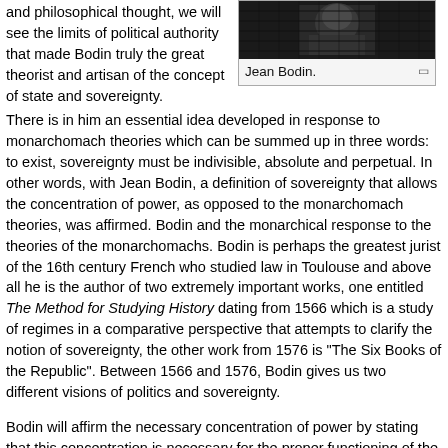and philosophical thought, we will see the limits of political authority that made Bodin truly the great theorist and artisan of the concept of state and sovereignty.
[Figure (photo): Black and white photograph of Jean Bodin.]
Jean Bodin.
There is in him an essential idea developed in response to monarchomach theories which can be summed up in three words: to exist, sovereignty must be indivisible, absolute and perpetual. In other words, with Jean Bodin, a definition of sovereignty that allows the concentration of power, as opposed to the monarchomach theories, was affirmed. Bodin and the monarchical response to the theories of the monarchomachs. Bodin is perhaps the greatest jurist of the 16th century French who studied law in Toulouse and above all he is the author of two extremely important works, one entitled The Method for Studying History dating from 1566 which is a study of regimes in a comparative perspective that attempts to clarify the notion of sovereignty, the other work from 1576 is "The Six Books of the Republic". Between 1566 and 1576, Bodin gives us two different visions of politics and sovereignty.
Bodin will affirm the necessary concentration of power by stating that this concentration is necessary for the proper functioning of the state,